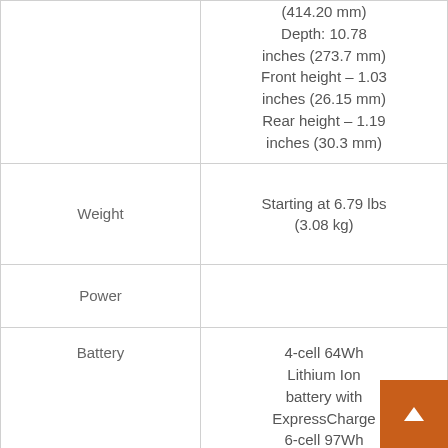|  |  |
| --- | --- |
|  | (414.20 mm)
Depth: 10.78 inches (273.7 mm)
Front height – 1.03 inches (26.15 mm)
Rear height – 1.19 inches (30.3 mm) |
| Weight | Starting at 6.79 lbs (3.08 kg) |
| Power |  |
| Battery | 4-cell 64Wh Lithium Ion battery with ExpressCharge
6-cell 97Wh Lithium Ion |